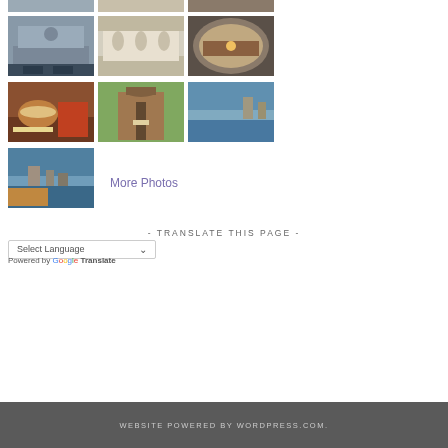[Figure (photo): Grid of travel/food photos - row 1: building exterior (blue-grey), ornate building facade, interior circular view from above]
[Figure (photo): Grid of travel/food photos - row 2: food/burger plate, entrance gate with person, coastal rock stacks sea]
[Figure (photo): Single photo - coastal cliffs and sea with rock formations]
More Photos
- TRANSLATE THIS PAGE -
Select Language
Powered by Google Translate
WEBSITE POWERED BY WORDPRESS.COM.